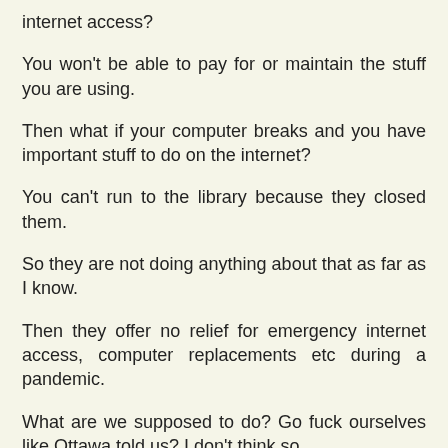internet access?
You won't be able to pay for or maintain the stuff you are using.
Then what if your computer breaks and you have important stuff to do on the internet?
You can't run to the library because they closed them.
So they are not doing anything about that as far as I know.
Then they offer no relief for emergency internet access, computer replacements etc during a pandemic.
What are we supposed to do? Go fuck ourselves like Ottawa told us? I don't think so.
Then everything they pass is for people with jobs and houses and stuff and nothing for everyone else at home.
You are like a government for two people...the prime